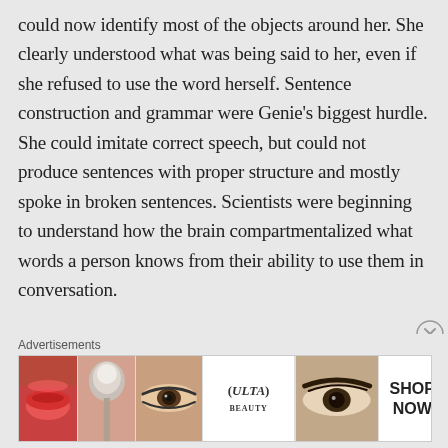could now identify most of the objects around her. She clearly understood what was being said to her, even if she refused to use the word herself.  Sentence construction and grammar were Genie's biggest hurdle.  She could imitate correct speech, but could not produce sentences with proper structure and mostly spoke in broken sentences.  Scientists were beginning to understand how the brain compartmentalized what words a person knows from their ability to use them in conversation.

One example of Genie's issues with speech was here confusion between “you” and “me.”  She would say
[Figure (photo): Advertisement banner for ULTA beauty products showing close-up images of makeup looks including lipstick, makeup brush, eye makeup, and eyebrows with a white ULTA logo section and 'SHOP NOW' call to action]
Advertisements